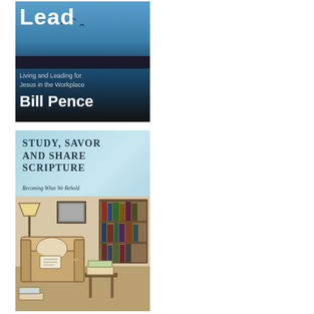[Figure (illustration): Book cover: 'Lead' - Living and Leading for Jesus in the Workplace by Bill Pence. Dark blue/teal cover with birds silhouetted against a blue sky and dark landscape.]
[Figure (illustration): Book cover: 'Study, Savor and Share Scripture - Becoming What We Behold'. Light blue cover with detailed pen-and-ink illustration of a cozy reading room with armchair, bookshelf, lamp, and books.]